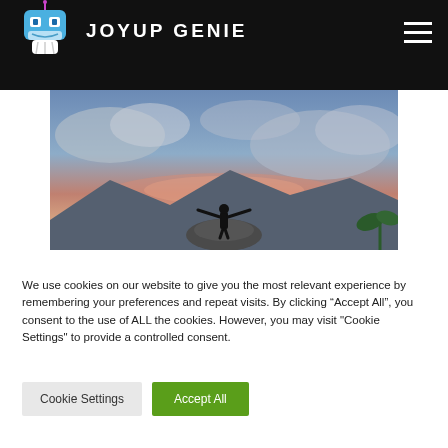JOYUP GENIE
[Figure (photo): Person standing on a rock with arms outstretched against a dramatic cloudy sky at dusk]
We use cookies on our website to give you the most relevant experience by remembering your preferences and repeat visits. By clicking “Accept All”, you consent to the use of ALL the cookies. However, you may visit "Cookie Settings" to provide a controlled consent.
Cookie Settings   Accept All